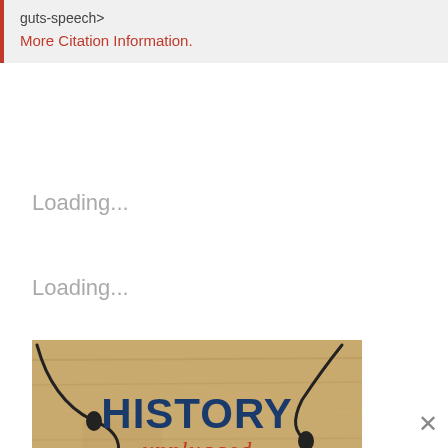guts-speech>
More Citation Information.
Loading...
Loading...
[Figure (illustration): History Unplugged Podcast logo on a wood-grain background with earphone/headphone cables decorating the corners. Text reads HISTORY unplugged PODCAST in dark blue and red script.]